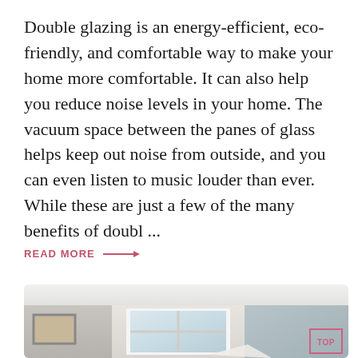Double glazing is an energy-efficient, eco-friendly, and comfortable way to make your home more comfortable. It can also help you reduce noise levels in your home. The vacuum space between the panes of glass helps keep out noise from outside, and you can even listen to music louder than ever. While these are just a few of the many benefits of doubl ...
READ MORE →
[Figure (photo): Interior room photo showing white walls, a triple-pane window in the center, a framed picture on the left wall, bluish-grey right wall, and a TOP badge watermark in the bottom right corner.]